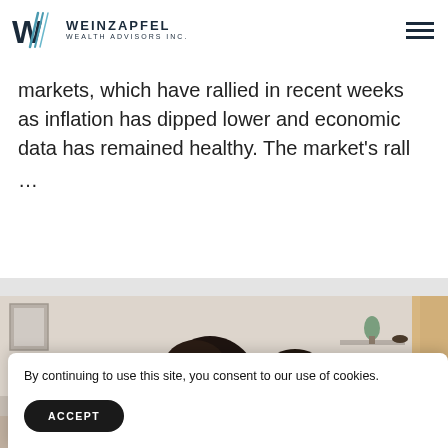Weinzapfel Wealth Advisors Inc.
markets, which have rallied in recent weeks as inflation has dipped lower and economic data has remained healthy. The market's rall
...
[Figure (photo): Two people looking down at something together, indoors with blurred background including a framed picture and shelf.]
By continuing to use this site, you consent to our use of cookies.
ACCEPT